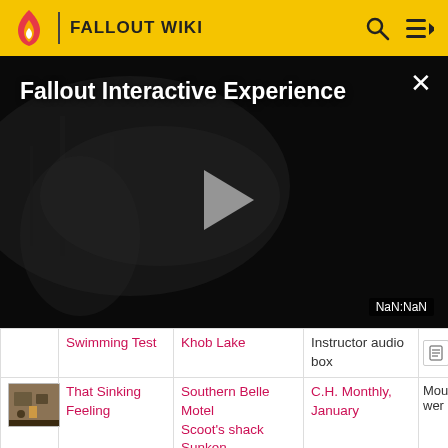FALLOUT WIKI
[Figure (screenshot): Video player showing 'Fallout Interactive Experience' title on dark background with play button and NaN:NaN timestamp]
| Image | Name | Location | Item | More |
| --- | --- | --- | --- | --- |
|  | Swimming Test | Khob Lake | Instructor audio box |  |
| [image] | That Sinking Feeling | Southern Belle Motel Scoot's shack Sunken... | C.H. Monthly, January | Mou... wer... |